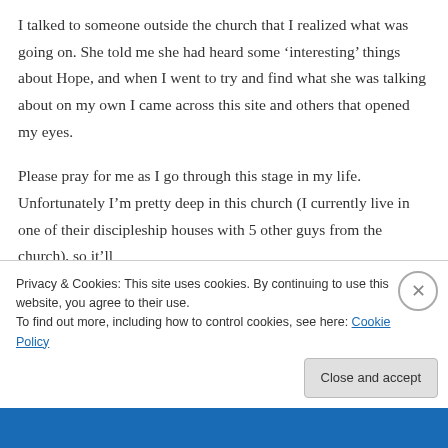I talked to someone outside the church that I realized what was going on. She told me she had heard some ‘interesting’ things about Hope, and when I went to try and find what she was talking about on my own I came across this site and others that opened my eyes.
Please pray for me as I go through this stage in my life. Unfortunately I’m pretty deep in this church (I currently live in one of their discipleship houses with 5 other guys from the church), so it’ll
Privacy & Cookies: This site uses cookies. By continuing to use this website, you agree to their use.
To find out more, including how to control cookies, see here: Cookie Policy